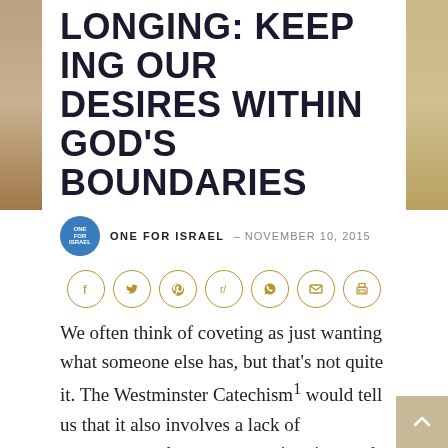LONGING: KEEPING OUR DESIRES WITHIN GOD’S BOUNDARIES
ONE FOR ISRAEL – NOVEMBER 10, 2015
[Figure (infographic): Row of 7 social media share icon buttons (Facebook, Twitter, Pinterest, Reddit, WhatsApp, Email, Print) in circular outlined style with gold/tan border color]
We often think of coveting as just wanting what someone else has, but that’s not quite it. The Westminster Catechism¹ would tell us that it also involves a lack of contentment about our own situation, and unpleasant attitudes to those we’re envious of.